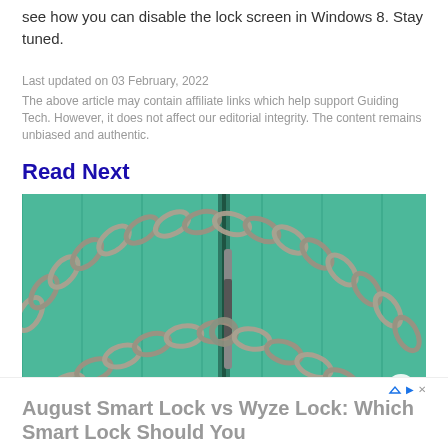see how you can disable the lock screen in Windows 8. Stay tuned.
Last updated on 03 February, 2022
The above article may contain affiliate links which help support Guiding Tech. However, it does not affect our editorial integrity. The content remains unbiased and authentic.
Read Next
[Figure (photo): Green painted wooden door secured with a heavy metal chain and padlock]
August Smart Lock vs Wyze Lock: Which Smart Lock Should You